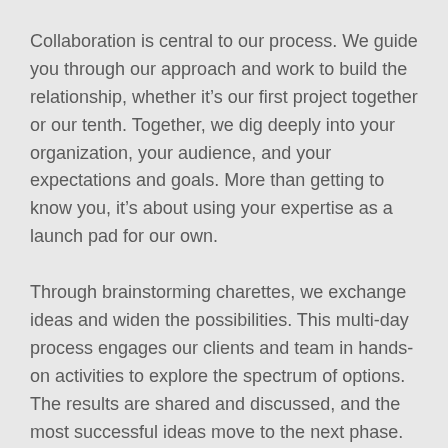Collaboration is central to our process. We guide you through our approach and work to build the relationship, whether it's our first project together or our tenth. Together, we dig deeply into your organization, your audience, and your expectations and goals. More than getting to know you, it's about using your expertise as a launch pad for our own.
Through brainstorming charettes, we exchange ideas and widen the possibilities. This multi-day process engages our clients and team in hands-on activities to explore the spectrum of options. The results are shared and discussed, and the most successful ideas move to the next phase. Once the vision is in place, we bring together the disciplines that can give it full expression: architecture, interpretive planning, exhibit design, graphic design, interactive media, and others.